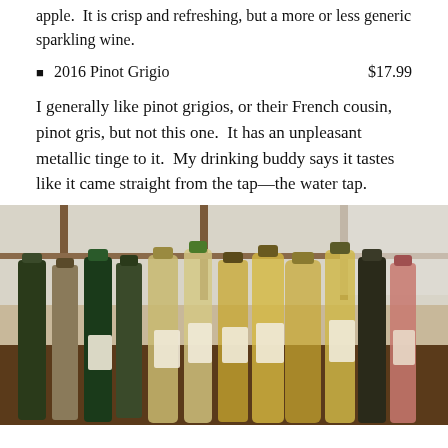apple. It is crisp and refreshing, but a more or less generic sparkling wine.
2016 Pinot Grigio    $17.99
I generally like pinot grigios, or their French cousin, pinot gris, but not this one. It has an unpleasant metallic tinge to it. My drinking buddy says it tastes like it came straight from the tap—the water tap.
[Figure (photo): Multiple wine bottles arranged on a table in front of a window, including white, rose, and other varieties with various labels.]